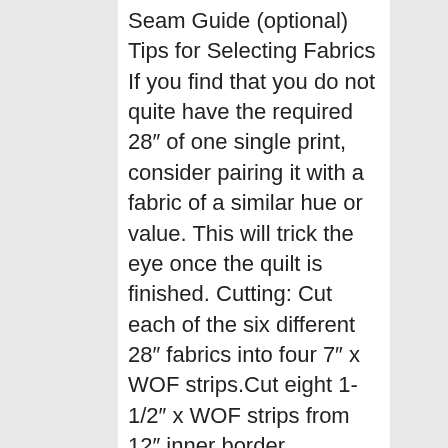Seam Guide (optional) Tips for Selecting Fabrics If you find that you do not quite have the required 28″ of one single print, consider pairing it with a fabric of a similar hue or value. This will trick the eye once the quilt is finished. Cutting: Cut each of the six different 28″ fabrics into four 7″ x WOF strips.Cut eight 1-1/2″ x WOF strips from 12″ inner border fabric.Cut nine strips 4-1/2″ x WOF from 1-1/4y outer border fabric.Cut nine strips at 2-1/2″ x WOF for